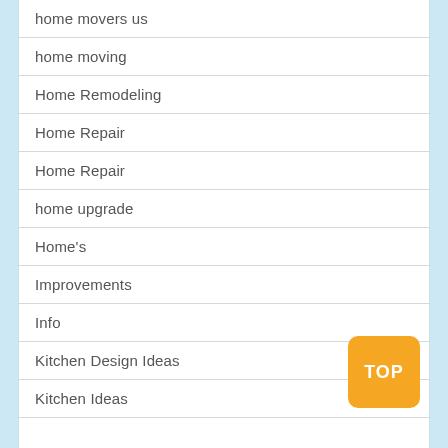home movers us
home moving
Home Remodeling
Home Repair
Home Repair
home upgrade
Home's
Improvements
Info
Kitchen Design Ideas
Kitchen Ideas